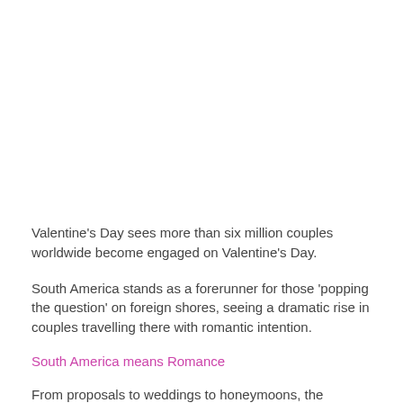Valentine's Day sees more than six million couples worldwide become engaged on Valentine's Day.
South America stands as a forerunner for those 'popping the question' on foreign shores, seeing a dramatic rise in couples travelling there with romantic intention.
South America means Romance
From proposals to weddings to honeymoons, the endlessly stunning continent has rapidly become the set for many couple's milestone events.